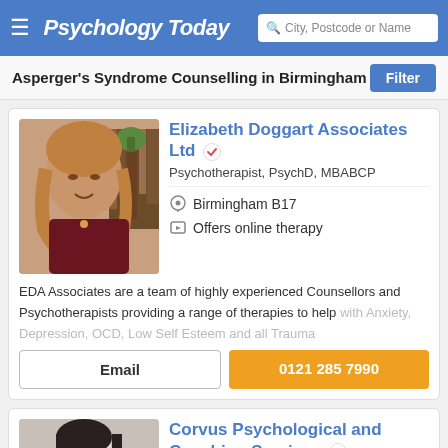Psychology Today | City, Postcode or Name
Asperger's Syndrome Counselling in Birmingham
Elizabeth Doggart Associates Ltd
Psychotherapist, PsychD, MBABCP
Birmingham B17
Offers online therapy
EDA Associates are a team of highly experienced Counsellors and Psychotherapists providing a range of therapies to help with Anxiety, Depression, OCD, Low Self Esteem and all Trauma
Email
0121 285 7990
Corvus Psychological and Coaching Services
Psychologist, MSc, HCRC, Forensic